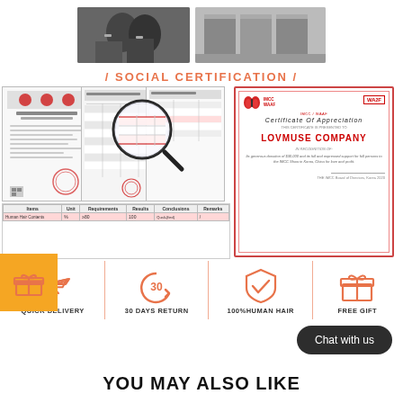[Figure (photo): Two photos at top: left shows people in business attire giving thumbs up, right shows workers at industrial equipment/printers]
/ SOCIAL CERTIFICATION /
[Figure (photo): Certification documents: Chinese inspection report, test results with magnifier overlay, table with human hair contents test results, and Certificate of Appreciation for LOVMUSE COMPANY from IMCC/WAAF]
[Figure (infographic): Four icons row: airplane (QUICK DELIVERY), circular arrow 30 (30 DAYS RETURN), shield checkmark (100%HUMAN HAIR), gift box (FREE GIFT), separated by vertical orange lines. Orange gift box icon on left edge.]
Chat with us
YOU MAY ALSO LIKE